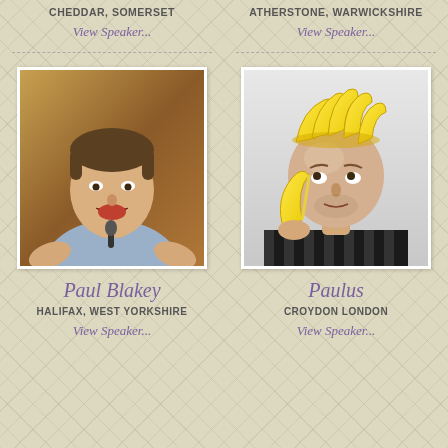CHEDDAR, SOMERSET
ATHERSTONE, WARWICKSHIRE
View Speaker...
View Speaker...
[Figure (photo): Man speaking, mouth open, gesturing with hands, microphone visible]
[Figure (photo): Bald man holding a peeled banana near his face, with several bananas balanced on top of his head, wearing striped shirt]
Paul Blakey
Paulus
HALIFAX, WEST YORKSHIRE
CROYDON LONDON
View Speaker...
View Speaker...